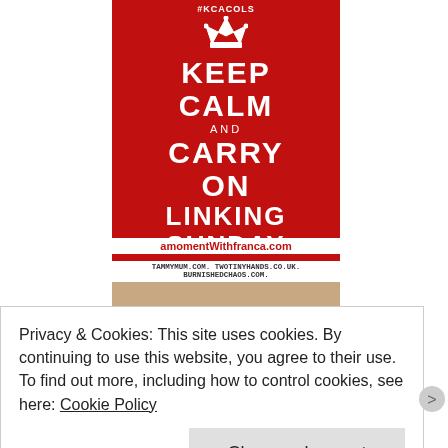[Figure (illustration): Keep Calm and Carry On Linking Sunday poster in red with white text and crown graphic, hashtag #KCACOLS at top, URL amomentWithfranca.com at bottom, co-hosts tammymum.com, twotinyhands.co.uk, burnishedchaos.com]
[Figure (photo): Hands of different sizes (family, adults and children) holding yellow dandelion flowers together on sandy/earthy background]
#FamilyFun
Privacy & Cookies: This site uses cookies. By continuing to use this website, you agree to their use.
To find out more, including how to control cookies, see here: Cookie Policy
Close and accept